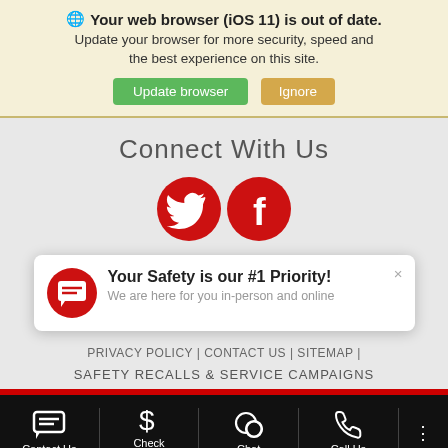🌐 Your web browser (iOS 11) is out of date. Update your browser for more security, speed and the best experience on this site.
Update browser | Ignore
Connect With Us
[Figure (illustration): Two red circular social media icons: Twitter bird icon and Facebook 'f' icon]
[Figure (screenshot): Popup card with red chat icon, title 'Your Safety is our #1 Priority!', subtitle 'We are here for you in-person and online', and an X close button]
PRIVACY POLICY | CONTACT US | SITEMAP |
SAFETY RECALLS & SERVICE CAMPAIGNS
Contact Us | Check Availability | Chat | Call Us | More